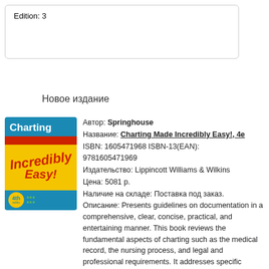Edition: 3
Новое издание
[Figure (illustration): Book cover of 'Charting Made Incredibly Easy! 4e' with blue background, red bar, yellow area with stylized text, and 4th edition badge]
Автор: Springhouse
Название: Charting Made Incredibly Easy!, 4e
ISBN: 1605471968 ISBN-13(EAN): 9781605471969
Издательство: Lippincott Williams & Wilkins
Цена: 5081 р.
Наличие на складе: Поставка под заказ.
Описание: Presents guidelines on documentation in a comprehensive, clear, concise, practical, and entertaining manner. This book reviews the fundamental aspects of charting such as the medical record, the nursing process, and legal and professional requirements. It addresses specific requirements for charting in acute care, home care and long-term care.